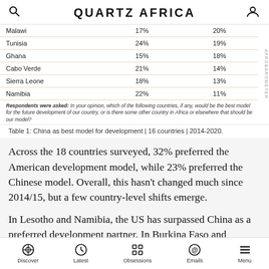QUARTZ AFRICA
| Malawi | 17% | 20% |
| Tunisia | 24% | 19% |
| Ghana | 15% | 18% |
| Cabo Verde | 21% | 14% |
| Sierra Leone | 18% | 13% |
| Namibia | 22% | 11% |
Respondents were asked: In your opinion, which of the following countries, if any, would be the best model for the future development of our country, or is there some other country in Africa or elsewhere that should be our model?
Table 1: China as best model for development | 16 countries | 2014-2020.
Across the 18 countries surveyed, 32% preferred the American development model, while 23% preferred the Chinese model. Overall, this hasn't changed much since 2014/15, but a few country-level shifts emerge.
In Lesotho and Namibia, the US has surpassed China as a preferred development partner. In Burkina Faso and Botswana, China is preferred. Angolans and Ethiopians,
Discover  Latest  Obsessions  Emails  Menu